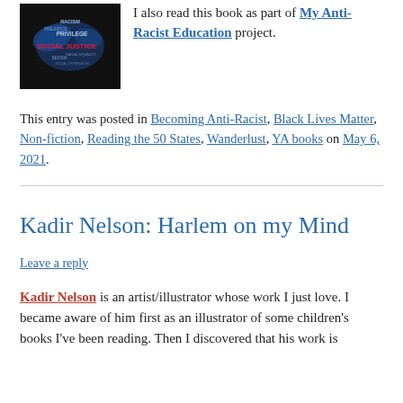[Figure (illustration): Book cover or word-cloud image with a dove shape containing words like RACISM, PREJUDICE, PRIVILEGE, SOCIAL JUSTICE, SEXISM on a dark background]
I also read this book as part of My Anti-Racist Education project.
This entry was posted in Becoming Anti-Racist, Black Lives Matter, Non-fiction, Reading the 50 States, Wanderlust, YA books on May 6, 2021.
Kadir Nelson: Harlem on my Mind
Leave a reply
Kadir Nelson is an artist/illustrator whose work I just love. I became aware of him first as an illustrator of some children's books I've been reading. Then I discovered that his work is